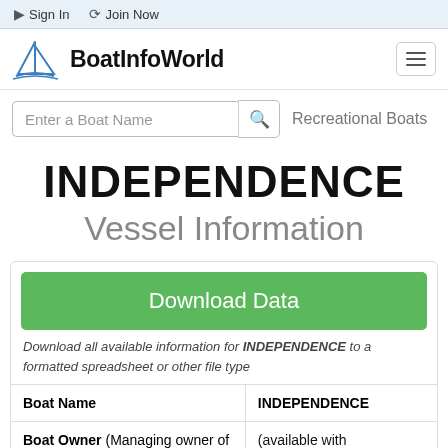Sign In   Join Now
[Figure (logo): BoatInfoWorld logo with sailboat icon]
Enter a Boat Name   Recreational Boats
INDEPENDENCE
Vessel Information
Download Data
Download all available information for INDEPENDENCE to a formatted spreadsheet or other file type
| Boat Name | INDEPENDENCE |
| --- | --- |
| Boat Owner (Managing owner of the vessel) | (available with membership or download) |
(available with membership or download)